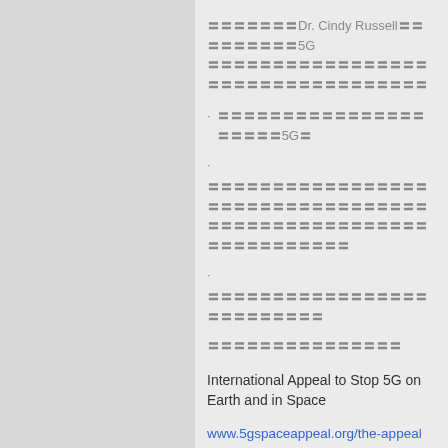〓〓〓〓〓〓〓Dr. Cindy Russell〓〓〓〓〓〓〓〓〓5G 〓〓〓〓〓〓〓〓〓〓〓〓〓〓〓〓〓〓〓〓〓〓〓〓〓〓〓〓〓〓〓〓
〓〓〓〓〓〓〓〓〓〓〓〓〓〓〓〓〓〓〓〓〓5G〓
.
〓〓〓〓〓〓〓〓〓〓〓〓〓〓〓〓〓〓〓〓〓〓〓〓〓〓〓〓〓〓〓〓〓〓〓〓〓〓〓〓〓〓〓〓〓〓〓〓〓〓〓〓〓〓〓〓〓〓〓〓〓〓
.
〓〓〓〓〓〓〓〓〓〓〓〓〓〓〓〓〓〓〓〓〓〓〓〓〓〓
〓〓〓〓〓〓〓〓〓〓〓〓〓〓〓
International Appeal to Stop 5G on Earth and in Space
www.5gspaceappeal.org/the-appeal
www.5gspace appeal.org/sign-here/